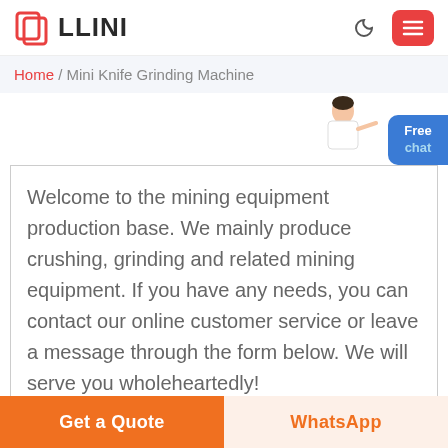LLINI
Home / Mini Knife Grinding Machine
[Figure (illustration): Customer service assistant figure (woman in white blazer pointing) with a blue 'Free chat' button]
Welcome to the mining equipment production base. We mainly produce crushing, grinding and related mining equipment. If you have any needs, you can contact our online customer service or leave a message through the form below. We will serve you wholeheartedly!
Get a Quote
WhatsApp